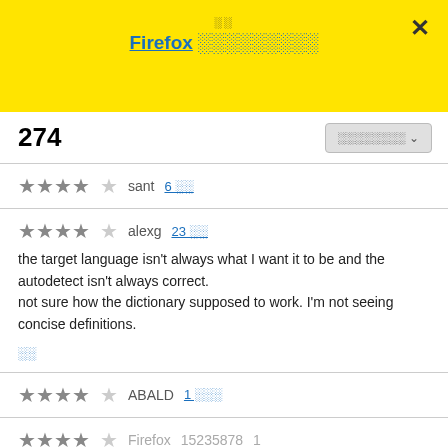Firefox ░░░░░░░░░
274
░░░░░░░░ ▾
sant  6 ░░
alexg  23 ░░
the target language isn't always what I want it to be and the autodetect isn't always correct.
not sure how the dictionary supposed to work. I'm not seeing concise definitions.
░░
ABALD  1 ░░░
Firefox  15235878  1